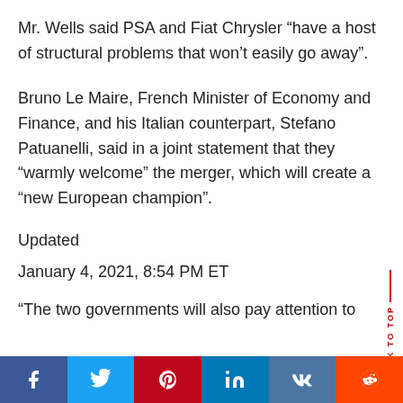Mr. Wells said PSA and Fiat Chrysler “have a host of structural problems that won’t easily go away”.
Bruno Le Maire, French Minister of Economy and Finance, and his Italian counterpart, Stefano Patuanelli, said in a joint statement that they “warmly welcome” the merger, which will create a “new European champion”.
Updated
January 4, 2021, 8:54 PM ET
“The two governments will also pay attention to